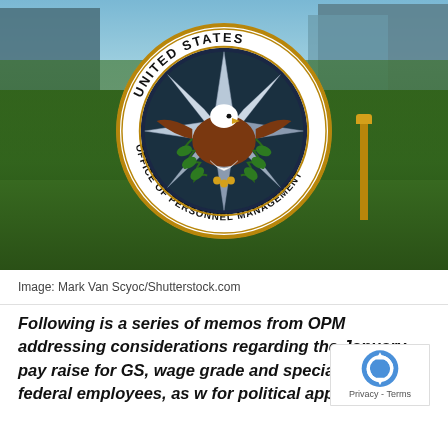[Figure (photo): United States Office of Personnel Management (OPM) official seal on a glass window/sign, with trees and buildings visible in the background. The circular seal features a bald eagle with laurel branches, a compass star, and the text 'United States Office of Personnel Management' around the border.]
Image: Mark Van Scyoc/Shutterstock.com
Following is a series of memos from OPM addressing considerations regarding the January pay raise for GS, wage grade and special rate federal employees, as w for political appointees.